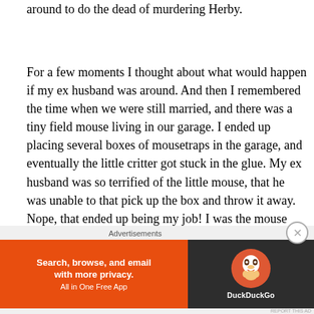around to do the dead of murdering Herby.
For a few moments I thought about what would happen if my ex husband was around. And then I remembered the time when we were still married, and there was a tiny field mouse living in our garage. I ended up placing several boxes of mousetraps in the garage, and eventually the little critter got stuck in the glue. My ex husband was so terrified of the little mouse, that he was unable to that pick up the box and throw it away. Nope, that ended up being my job! I was the mouse murderer. To this day, I remember seeing the little guy's eyes bugging out of his head and his
Advertisements
[Figure (other): DuckDuckGo advertisement banner: orange background on left with text 'Search, browse, and email with more privacy. All in One Free App', dark background on right with DuckDuckGo logo]